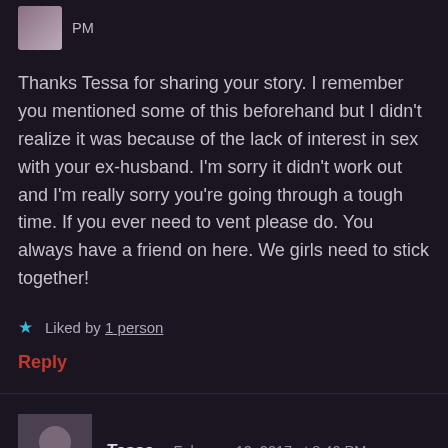PM
Thanks Tessa for sharing your story. I remember you mentioned some of this beforehand but I didn't realize it was because of the lack of interest in sex with your ex-husband. I'm sorry it didn't work out and I'm really sorry you're going through a tough time. If you ever need to vent please do. You always have a friend on here. We girls need to stick together!
Liked by 1 person
Reply
Tessa  February 12, 2017 at 8:40 PM
Thanks Jess! Need all the support I can get!